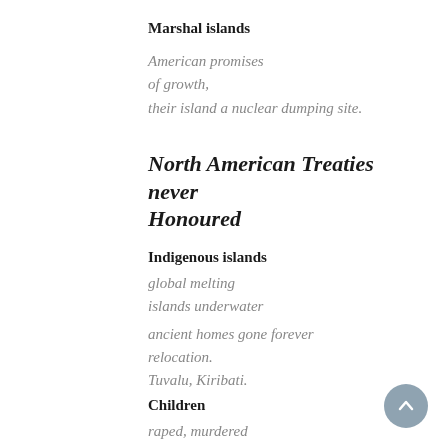Marshal islands
American promises
of growth,
their island a nuclear dumping site.
North American Treaties never Honoured
Indigenous islands
global melting
islands underwater

ancient homes gone forever
relocation.
Tuvalu, Kiribati.
Children
raped, murdered
men buying children